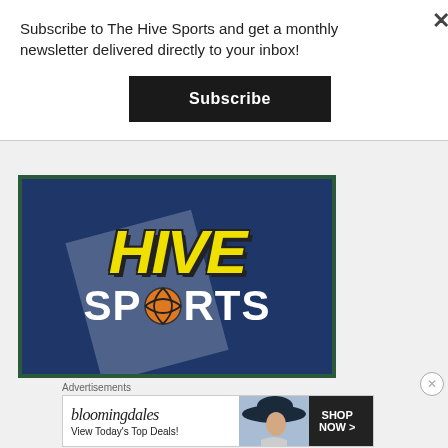Subscribe to The Hive Sports and get a monthly newsletter delivered directly to your inbox!
Subscribe
[Figure (logo): Hive Sports logo on dark navy background with yellow 'HIVE' text in bold italic, 'SPORTS' in white with a basketball replacing the 'O', and a diagonal translucent gray shape overlay.]
Advertisements
[Figure (screenshot): Bloomingdale's advertisement banner. Shows 'bloomingdales' logo in italic serif font, 'View Today's Top Deals!' tagline, a woman wearing a large hat, and a 'SHOP NOW >' button in a black box.]